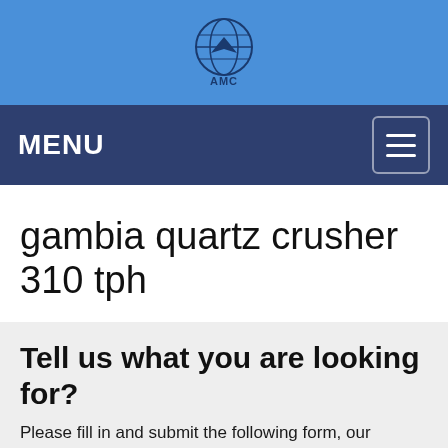[Figure (logo): AMC Global logo: globe icon with 'AMC' text and 'Global equipment' subtitle, centered on blue header bar]
MENU
gambia quartz crusher 310 tph
Tell us what you are looking for?
Please fill in and submit the following form, our service team will contact you as soon as possible and provide a complete solution.